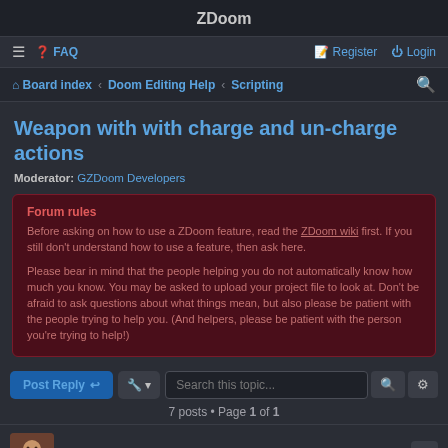ZDoom
≡  ❓ FAQ    Register  ⏻ Login
Board index › Doom Editing Help › Scripting
Weapon with with charge and un-charge actions
Moderator: GZDoom Developers
Forum rules
Before asking on how to use a ZDoom feature, read the ZDoom wiki first. If you still don't understand how to use a feature, then ask here.

Please bear in mind that the people helping you do not automatically know how much you know. You may be asked to upload your project file to look at. Don't be afraid to ask questions about what things mean, but also please be patient with the people trying to help you. (And helpers, please be patient with the person you're trying to help!)
Post Reply  🔧 ▼  Search this topic...  🔍  ⚙
7 posts • Page 1 of 1
Sir Robin